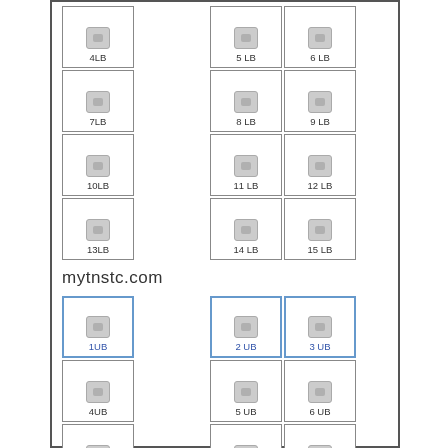[Figure (other): Seating chart with labeled seat buttons arranged in rows. Top section shows LB seats (4LB through 15LB) and bottom section shows UB seats (1UB through 15UB) with mytnstc.com watermark between sections.]
mytnstc.com